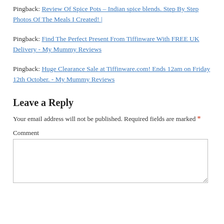Pingback: Review Of Spice Pots – Indian spice blends. Step By Step Photos Of The Meals I Created! |
Pingback: Find The Perfect Present From Tiffinware With FREE UK Delivery - My Mummy Reviews
Pingback: Huge Clearance Sale at Tiffinware.com! Ends 12am on Friday 12th October. - My Mummy Reviews
Leave a Reply
Your email address will not be published. Required fields are marked *
Comment